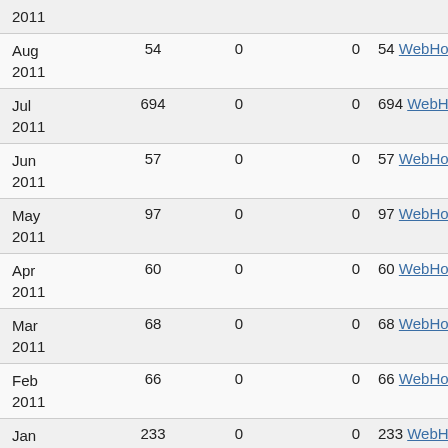| Month | Views | Col3 | Col4 | Top Page |
| --- | --- | --- | --- | --- |
| Aug 2011 | 54 | 0 | 0 | 54 WebHome |
| Jul 2011 | 694 | 0 | 0 | 694 WebHome |
| Jun 2011 | 57 | 0 | 0 | 57 WebHome |
| May 2011 | 97 | 0 | 0 | 97 WebHome |
| Apr 2011 | 60 | 0 | 0 | 60 WebHome |
| Mar 2011 | 68 | 0 | 0 | 68 WebHome |
| Feb 2011 | 66 | 0 | 0 | 66 WebHome |
| Jan 2011 | 233 | 0 | 0 | 233 WebHome |
| Dec 2010 | 788 | 0 | 0 | 788 WebHome |
| Nov (partial) | 140 | 0 | 0 | 140 WebHome |